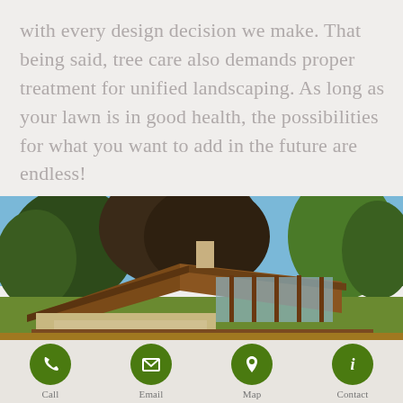with every design decision we make. That being said, tree care also demands proper treatment for unified landscaping. As long as your lawn is in good health, the possibilities for what you want to add in the future are endless!
[Figure (photo): Photograph of a mid-century modern style house with a low-pitched roof surrounded by large trees and lush green landscaping under a blue sky]
Call  Email  Map  Contact